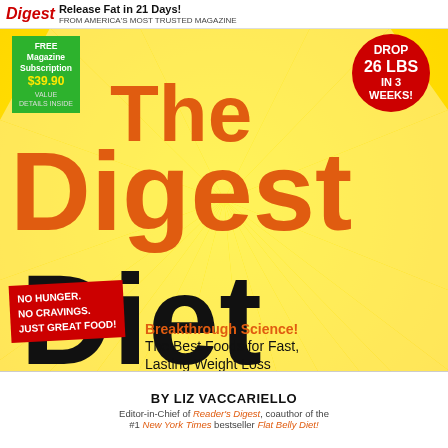Digest Release Fat in 21 Days! FROM AMERICA'S MOST TRUSTED MAGAZINE
[Figure (illustration): Book cover for 'The Digest Diet' with yellow sunburst background, green free subscription badge, red circle badge reading DROP 26 LBS IN 3 WEEKS!, large orange and black title text, red banner NO HUNGER. NO CRAVINGS. JUST GREAT FOOD!, and white author section at bottom.]
The Digest Diet
Breakthrough Science! The Best Foods for Fast, Lasting Weight Loss
NO HUNGER. NO CRAVINGS. JUST GREAT FOOD!
DROP 26 LBS IN 3 WEEKS!
FREE Magazine Subscription $39.90
BY LIZ VACCARIELLO
Editor-in-Chief of Reader's Digest, coauthor of the #1 New York Times bestseller Flat Belly Diet!